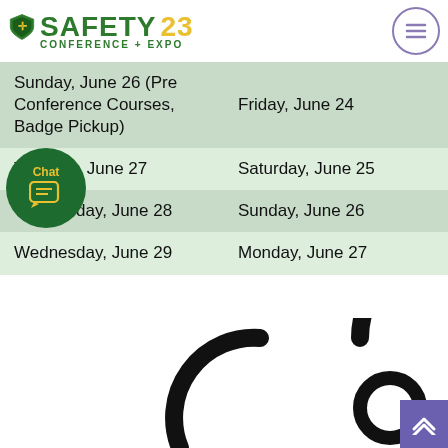SAFETY 23 CONFERENCE + EXPO
| Sunday, June 26 (Pre Conference Courses, Badge Pickup) | Friday, June 24 |
| Tuesday, June 27 | Saturday, June 25 |
| Wednesday, June 28 | Sunday, June 26 |
| Wednesday, June 29 | Monday, June 27 |
[Figure (illustration): Decorative circular target/loading icon in bottom right area, and partial circular arc in bottom center-left. Also a chat bubble overlay icon with 'Chat' label in green circle.]